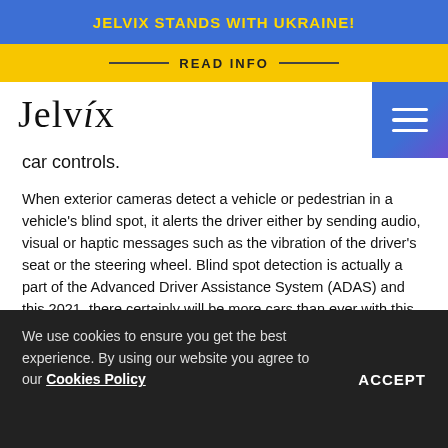JELVIX STANDS WITH UKRAINE!
READ INFO
[Figure (logo): Jelvix company logo in serif font]
car controls.
When exterior cameras detect a vehicle or pedestrian in a vehicle's blind spot, it alerts the driver either by sending audio, visual or haptic messages such as the vibration of the driver's seat or the steering wheel. Blind spot detection is actually a part of the Advanced Driver Assistance System (ADAS) and this 2021, there certainly will be more cars than ever with this system.
We use cookies to ensure you get the best experience. By using our website you agree to our Cookies Policy